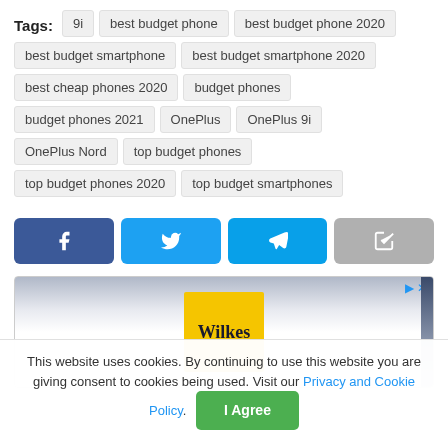Tags: 9i  best budget phone  best budget phone 2020  best budget smartphone  best budget smartphone 2020  best cheap phones 2020  budget phones  budget phones 2021  OnePlus  OnePlus 9i  OnePlus Nord  top budget phones  top budget phones 2020  top budget smartphones
[Figure (other): Social share buttons: Facebook, Twitter, Telegram, and a generic share button]
[Figure (screenshot): Advertisement banner showing Wilkes logo on yellow background with dark sidebar]
This website uses cookies. By continuing to use this website you are giving consent to cookies being used. Visit our Privacy and Cookie Policy. [I Agree button]